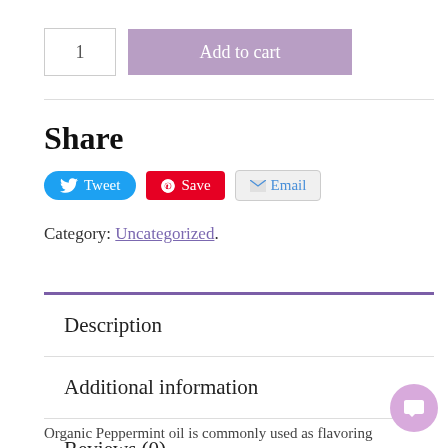1   Add to cart
Share
Tweet  Save  Email
Category: Uncategorized.
Description
Additional information
Reviews (0)
Organic Peppermint oil is commonly used as flavoring